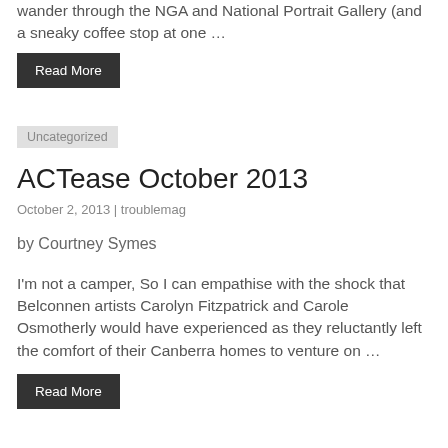wander through the NGA and National Portrait Gallery (and a sneaky coffee stop at one …
Read More
Uncategorized
ACTease October 2013
October 2, 2013 | troublemag
by Courtney Symes
I'm not a camper, So I can empathise with the shock that Belconnen artists Carolyn Fitzpatrick and Carole Osmotherly would have experienced as they reluctantly left the comfort of their Canberra homes to venture on …
Read More